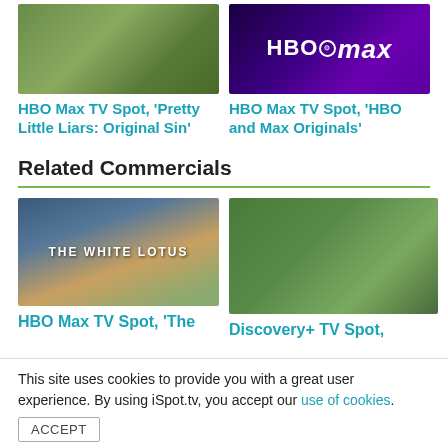[Figure (photo): Video thumbnail showing outdoor grassy scene viewed from inside a vehicle]
HBO Max TV Spot, 'Pretty Little Liars: Original Sin'
[Figure (photo): HBO Max logo on dark purple/black background]
HBO Max TV Spot, 'HBO and Max Originals'
Related Commercials
[Figure (photo): The White Lotus TV show thumbnail with two people on a scooter on a coastal road]
HBO Max TV Spot, 'The
[Figure (photo): Discovery+ TV spot thumbnail showing a man standing in front of a cabin in a forest]
Discovery+ TV Spot,
This site uses cookies to provide you with a great user experience. By using iSpot.tv, you accept our use of cookies.
ACCEPT